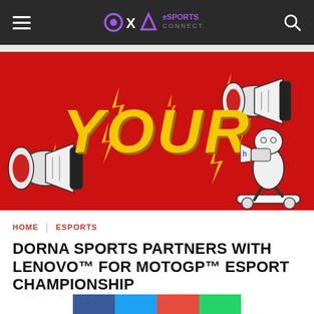OXA eSPORTS CONNECT
[Figure (illustration): Red banner with large gold italic 'YOUR' text, two megaphones on left and top-right, a cartoon running character with a megaphone on bottom-right, and yellow lightning bolt decorations throughout]
HOME | ESPORTS
DORNA SPORTS PARTNERS WITH LENOVO™ FOR MOTOGP™ ESPORT CHAMPIONSHIP